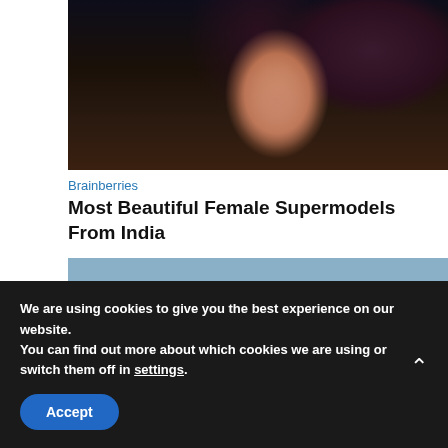[Figure (photo): Close-up photo of a smiling woman with dark curly hair against a dark background]
Brainberries
Most Beautiful Female Supermodels From India
[Figure (photo): Photo of a woman with light brown hair against a colorful background with yellow and blue tones]
We are using cookies to give you the best experience on our website.
You can find out more about which cookies we are using or switch them off in settings.
Accept